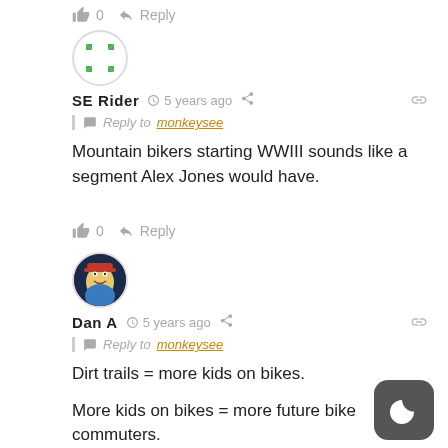👍 0  Reply
[Figure (illustration): SE Rider avatar: circular icon with green arrow cross pattern on white background]
SE Rider  🕐 5 years ago  Share  🔗
| 💬 Reply to monkeysee
Mountain bikers starting WWIII sounds like a segment Alex Jones would have.
👍 0  Reply
[Figure (illustration): Dan A avatar: circular icon with cartoon character illustration]
Dan A  🕐 5 years ago  Share  🔗
| 💬 Reply to monkeysee
Dirt trails = more kids on bikes.
More kids on bikes = more future bike commuters.
More bike commuters = we get to keep living on earth.